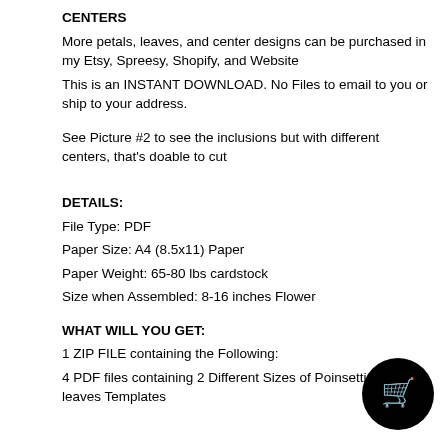CENTERS
More petals, leaves, and center designs can be purchased in my Etsy, Spreesy, Shopify, and Website
This is an INSTANT DOWNLOAD. No Files to email to you or ship to your address.
See Picture #2 to see the inclusions but with different centers, that's doable to cut
DETAILS:
File Type: PDF
Paper Size: A4 (8.5x11) Paper
Paper Weight: 65-80 lbs cardstock
Size when Assembled: 8-16 inches Flower
WHAT WILL YOU GET:
1 ZIP FILE containing the Following:
4 PDF files containing 2 Different Sizes of Poinsettia4 and leaves Templates
[Figure (illustration): Black circle shopping cart icon button in bottom right corner]